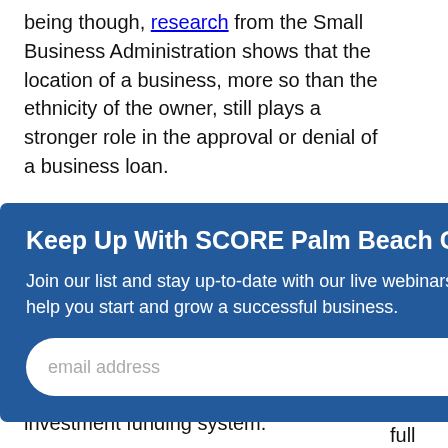being though, research from the Small Business Administration shows that the location of a business, more so than the ethnicity of the owner, still plays a stronger role in the approval or denial of a business loan.
[Figure (other): Modal popup for SCORE Palm Beach County email newsletter signup. Dark blue background with title 'Keep Up With SCORE Palm Beach County', subtitle text, email input field and Submit button.]
The growing income inequality is caused and exacerbated by racial bias that pervades the loan lending and investment funding system.